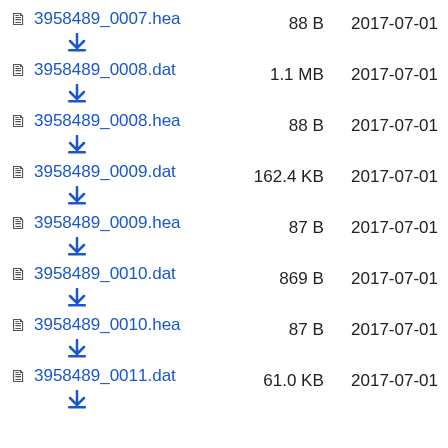3958489_0007.hea  88 B  2017-07-01
3958489_0008.dat  1.1 MB  2017-07-01
3958489_0008.hea  88 B  2017-07-01
3958489_0009.dat  162.4 KB  2017-07-01
3958489_0009.hea  87 B  2017-07-01
3958489_0010.dat  869 B  2017-07-01
3958489_0010.hea  87 B  2017-07-01
3958489_0011.dat  61.0 KB  2017-07-01